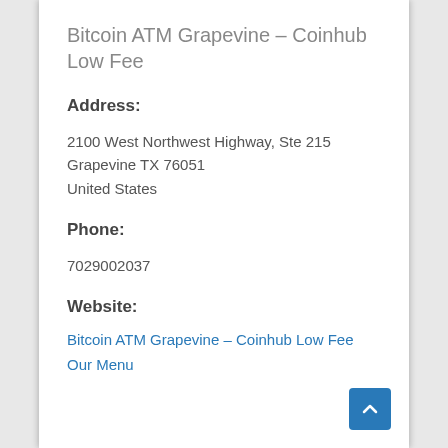Bitcoin ATM Grapevine – Coinhub Low Fee
Address:
2100 West Northwest Highway, Ste 215
Grapevine TX 76051
United States
Phone:
7029002037
Website:
Bitcoin ATM Grapevine – Coinhub Low Fee
Our Menu